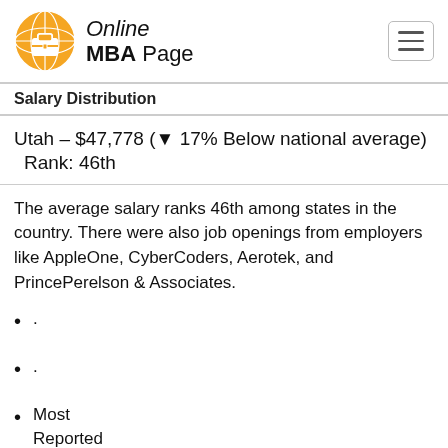Online MBA Page
Salary Distribution
Utah – $47,778 (▼ 17% Below national average)    Rank: 46th
The average salary ranks 46th among states in the country. There were also job openings from employers like AppleOne, CyberCoders, Aerotek, and PrincePerelson & Associates.
.
.
Most
Reported